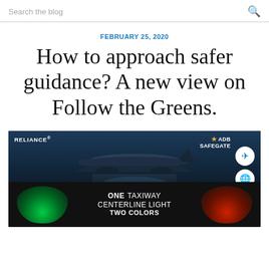Search the blog
FEBRUARY 25, 2020
How to approach safer guidance? A new view on Follow the Greens.
[Figure (photo): Advertisement showing an airplane on a runway at dusk with two taxiway centerline lights (green and red). Text overlays: RELIANCE, ADB SAFEGATE, ONE TAXIWAY CENTERLINE LIGHT, TWO COLORS.]